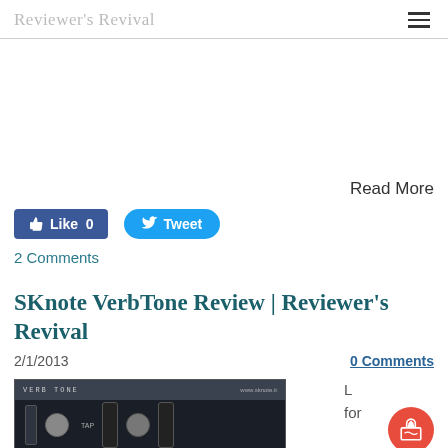Reviewer's Revival
Read More
[Figure (screenshot): Facebook Like button with count 0 and Twitter Tweet button]
2 Comments
SKnote VerbTone Review | Reviewer's Revival
2/1/2013
0 Comments
[Figure (photo): SKnote VerbTone plugin screenshot showing dark UI with VERB TONE header bar and www.sknote.it branding, with knobs and sliders visible]
for